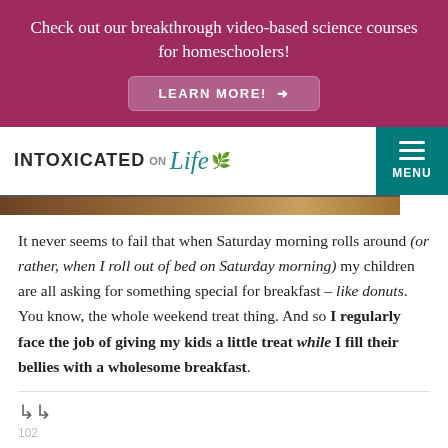Check out our breakthrough video-based science courses for homeschoolers! LEARN MORE!
[Figure (logo): Intoxicated on Life logo with teal cursive text and green leaf, plus teal menu button]
It never seems to fail that when Saturday morning rolls around (or rather, when I roll out of bed on Saturday morning) my children are all asking for something special for breakfast – like donuts. You know, the whole weekend treat thing. And so I regularly face the job of giving my kids a little treat while I fill their bellies with a wholesome breakfast.
102